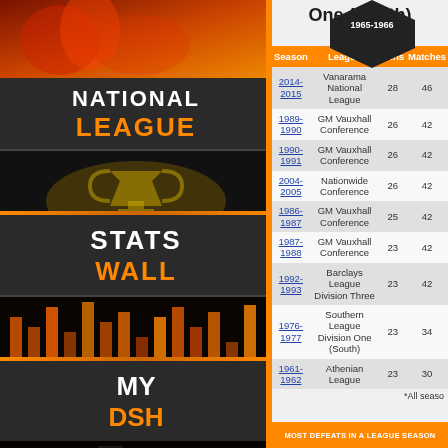[Figure (screenshot): Left navigation sidebar with National League, Stats Wall, and My DSH sections with orange accent colors on dark background]
One (South)
1965-1966
View Season
| Season | League | Wins | Matches |
| --- | --- | --- | --- |
| 2014-2015 | Vanarama National League | 28 | 46 |
| 1989-1990 | GM Vauxhall Conference | 26 | 42 |
| 1990-1991 | GM Vauxhall Conference | 26 | 42 |
| 2004-2005 | Nationwide Conference | 26 | 42 |
| 1986-1987 | GM Vauxhall Conference | 25 | 42 |
| 1987-1988 | GM Vauxhall Conference | 23 | 42 |
| 1992-1993 | Barclays League Division Three | 23 | 42 |
| 1976-1977 | Southern League Division One (South) | 23 | 34 |
| 1961-1962 | Athenian League | 23 | 30 |
One (So
View Sea
| Season |  |
| --- | --- |
| 2014-2015 | Na |
| 1990-1991 | G |
| 2004-2005 | G |
| 1986-1987 | G |
| 1989-1990 | G |
| 1987-1988 | G |
| 1992-1993 | Ba D |
| 1976-1977 | Sou D |
| 1999-2000 | Le |
*All seaso
MOST DEFEATS IN A LEAGUE SEASON
FEWEST PO